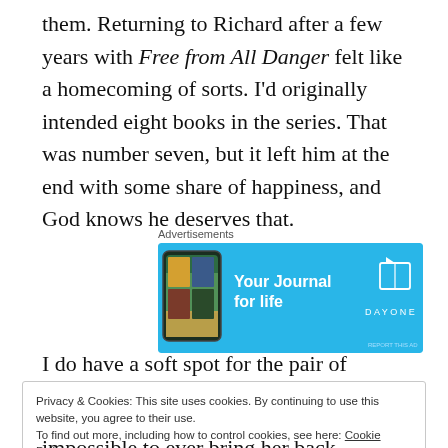them. Returning to Richard after a few years with Free from All Danger felt like a homecoming of sorts. I'd originally intended eight books in the series. That was number seven, but it left him at the end with some share of happiness, and God knows he deserves that.
[Figure (infographic): Advertisement banner for DayOne journal app showing a phone mockup and text 'Your Journal for life' with DayOne brand logo]
I do have a soft spot for the pair of novels featuring
Privacy & Cookies: This site uses cookies. By continuing to use this website, you agree to their use. To find out more, including how to control cookies, see here: Cookie Policy Close and accept
impossible to ever bring her back, although she seems